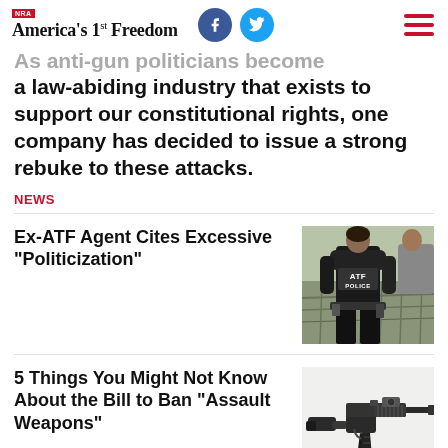NRA America's 1st Freedom
As anti-gun politicians become increasingly hostile to a law-abiding industry that exists to support our constitutional rights, one company has decided to issue a strong rebuke to these attacks.
NEWS
Ex-ATF Agent Cites Excessive “Politicization”
[Figure (photo): ATF Police officer seen from behind wearing a black tactical vest with 'ATF POLICE' text on the back, standing outdoors near metal fencing.]
5 Things You Might Not Know About the Bill to Ban “Assault Weapons”
[Figure (photo): Close-up of a black AR-style semi-automatic rifle with ammunition cartridges visible in the foreground on a white background.]